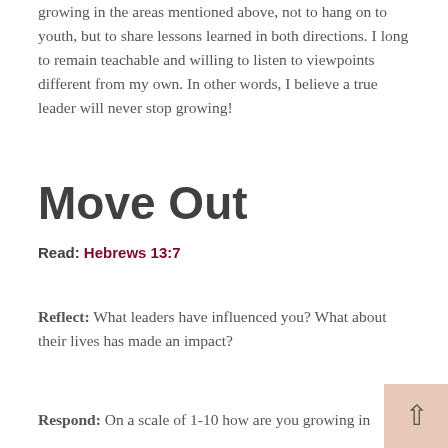growing in the areas mentioned above, not to hang on to youth, but to share lessons learned in both directions. I long to remain teachable and willing to listen to viewpoints different from my own. In other words, I believe a true leader will never stop growing!
Move Out
Read: Hebrews 13:7
Reflect: What leaders have influenced you? What about their lives has made an impact?
Respond: On a scale of 1-10 how are you growing in